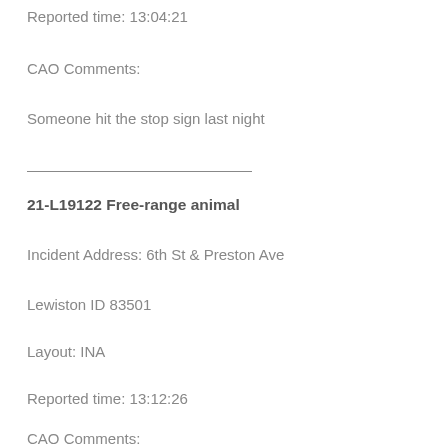Reported time: 13:04:21
CAO Comments:
Someone hit the stop sign last night
21-L19122 Free-range animal
Incident Address: 6th St & Preston Ave
Lewiston ID 83501
Layout: INA
Reported time: 13:12:26
CAO Comments: